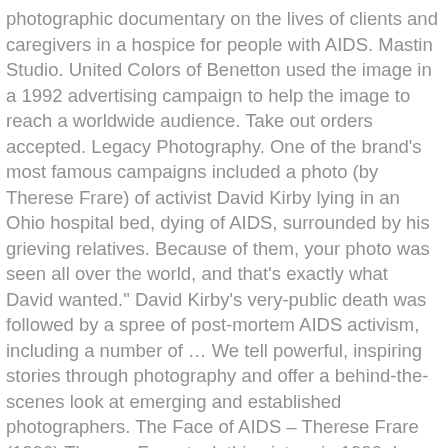photographic documentary on the lives of clients and caregivers in a hospice for people with AIDS. Mastin Studio. United Colors of Benetton used the image in a 1992 advertising campaign to help the image to reach a worldwide audience. Take out orders accepted. Legacy Photography. One of the brand's most famous campaigns included a photo (by Therese Frare) of activist David Kirby lying in an Ohio hospital bed, dying of AIDS, surrounded by his grieving relatives. Because of them, your photo was seen all over the world, and that's exactly what David wanted." David Kirby's very-public death was followed by a spree of post-mortem AIDS activism, including a number of … We tell powerful, inspiring stories through photography and offer a behind-the-scenes look at emerging and established photographers. The Face of AIDS – Therese Frare (1990) Therese Frare took this picture in 1990. In 2012, Frare told Life that David's father Bill Kirby expressed … Date: 1992: Dimensions: Overall: 11 1/2 x 16 1/2 in. In 1990, Life magazine published a photograph by Therese Frare